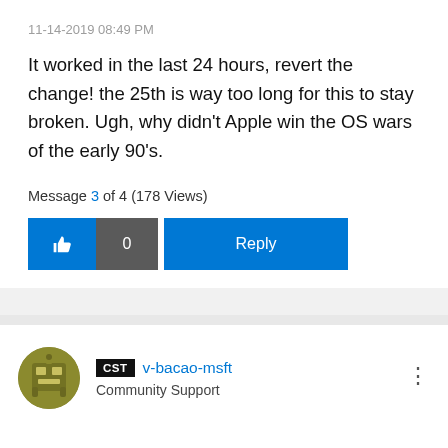11-14-2019 08:49 PM
It worked in the last 24 hours, revert the change! the 25th is way too long for this to stay broken. Ugh, why didn't Apple win the OS wars of the early 90's.
Message 3 of 4 (178 Views)
[Figure (other): Interactive UI buttons: thumbs up like button with count 0, and a Reply button]
[Figure (other): User avatar circle with olive/yellow color and gear icon illustration]
CST v-bacao-msft
Community Support